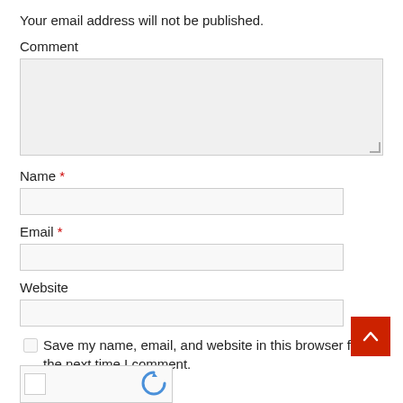Your email address will not be published.
Comment
Name *
Email *
Website
Save my name, email, and website in this browser for the next time I comment.